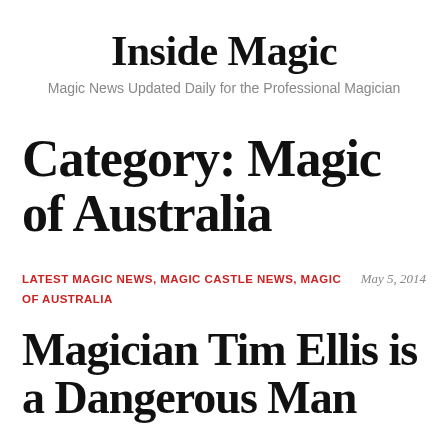Inside Magic
Magic News Updated Daily for the Professional Magician
Category: Magic of Australia
LATEST MAGIC NEWS, MAGIC CASTLE NEWS, MAGIC OF AUSTRALIA
May 5, 2014
Magician Tim Ellis is a Dangerous Man